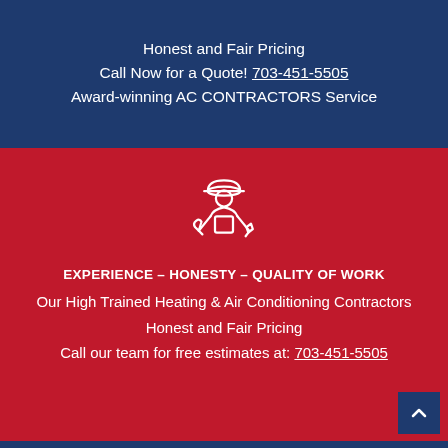Honest and Fair Pricing
Call Now for a Quote! 703-451-5505
Award-winning AC CONTRACTORS Service
[Figure (illustration): White line icon of a worker/technician wearing a hard hat, holding tools (wrench and pliers), centered on red background]
EXPERIENCE – HONESTY – QUALITY OF WORK
Our High Trained Heating & Air Conditioning Contractors
Honest and Fair Pricing
Call our team for free estimates at: 703-451-5505